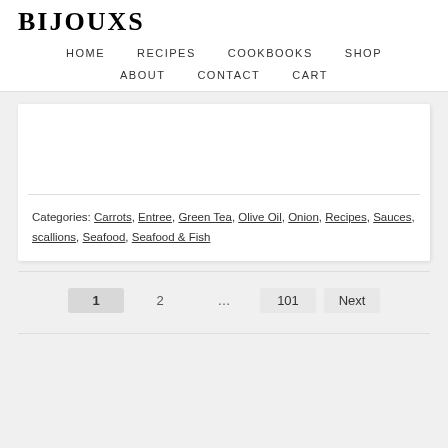BIJOUXS
HOME   RECIPES   COOKBOOKS   SHOP   ABOUT   CONTACT   CART
Categories: Carrots, Entree, Green Tea, Olive Oil, Onion, Recipes, Sauces, scallions, Seafood, Seafood & Fish
1  2  …  101  Next